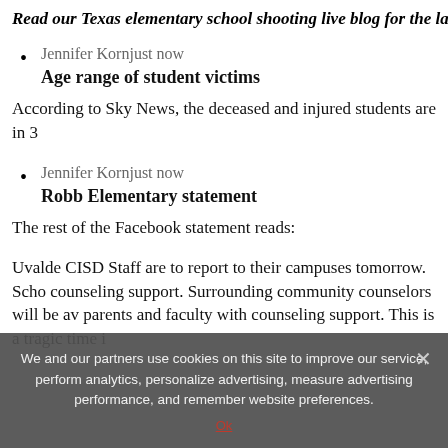Read our Texas elementary school shooting live blog for the latest n
Jennifer Kornjust now
Age range of student victims
According to Sky News, the deceased and injured students are in 3
Jennifer Kornjust now
Robb Elementary statement
The rest of the Facebook statement reads:
Uvalde CISD Staff are to report to their campuses tomorrow. Scho counseling support. Surrounding community counselors will be av parents and faculty with counseling support. This is a tragic time i
We and our partners use cookies on this site to improve our service, perform analytics, personalize advertising, measure advertising performance, and remember website preferences.
Ok